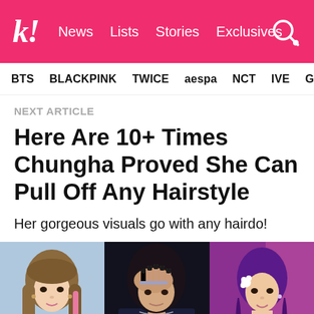k! | News | Lists | Stories | Exclusives
BTS | BLACKPINK | TWICE | aespa | NCT | IVE | Girls'
NEXT ARTICLE
Here Are 10+ Times Chungha Proved She Can Pull Off Any Hairstyle
Her gorgeous visuals go with any hairdo!
[Figure (photo): Three photos of Chungha showing different hairstyles: long straight hair with pink highlights, dark hair covering face, and purple braided hair]